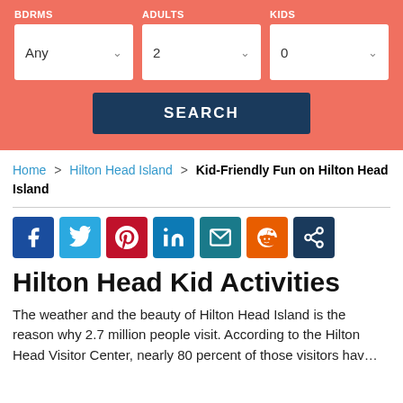[Figure (screenshot): Search panel with coral/salmon background showing BDRMS (Any), ADULTS (2), KIDS (0) dropdowns and a dark blue SEARCH button]
Home > Hilton Head Island > Kid-Friendly Fun on Hilton Head Island
[Figure (infographic): Social share icons row: Facebook, Twitter, Pinterest, LinkedIn, Email, Reddit, Share]
Hilton Head Kid Activities
The weather and the beauty of Hilton Head Island is the reason why 2.7 million people visit. According to the Hilton Head Visitor Center, nearly 80 percent of those visitors hav…